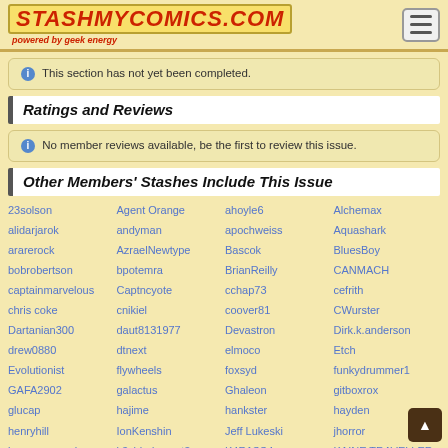StashMyComics.com powered by geek energy
ⓘ This section has not yet been completed.
Ratings and Reviews
ⓘ No member reviews available, be the first to review this issue.
Other Members' Stashes Include This Issue
23solson
Agent Orange
ahoyle6
Alchemax
alidarjarok
andyman
apochweiss
Aquashark
ararerock
AzraelNewtype
Bascok
BluesBoy
bobrobertson
bpotemra
BrianReilly
CANMACH
captainmarvelous
Captncyote
cchap73
cefrith
chris coke
cnikiel
coover81
CWurster
Dartanian300
daut8131977
Devastron
Dirk.k.anderson
drew0880
dtnext
elmoco
Etch
Evolutionist
flywheels
foxsyd
funkydrummer1
GAFA2902
galactus
Ghaleon
gitboxrox
glucap
hajime
hankster
hayden
henryhill
IonKenshin
Jeff Lukeski
jhorror
juancruzmorales
k3yblademast3r
K4R1SS4
KAINE TRAVELLER